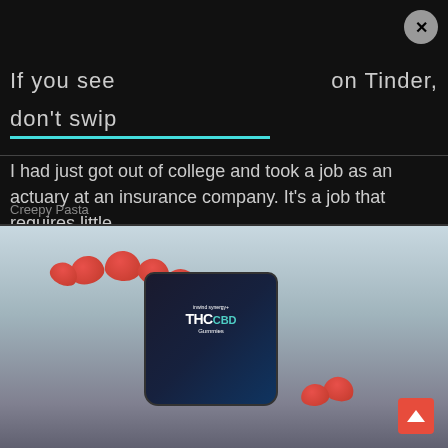If you see on Tinder, don't swip
I had just got out of college and took a job as an actuary at an insurance company. It's a job that requires little …
Creepy Pasta
[Figure (photo): Advertisement photo of CBDistillery inwind synergy THC CBD Gummies jar (Berry flavor, 30 count) opened with red berry-shaped gummies overflowing the top and a few gummies placed beside the jar on a stone surface with a blurred outdoor background.]